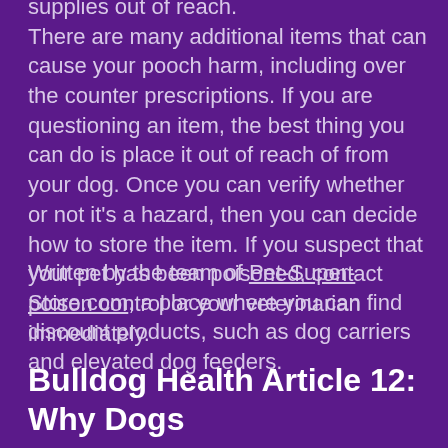supplies out of reach. There are many additional items that can cause your pooch harm, including over the counter prescriptions. If you are questioning an item, the best thing you can do is place it out of reach of from your dog. Once you can verify whether or not it's a hazard, then you can decide how to store the item. If you suspect that your pet has been poisoned, contact poison control or your veterinarian immediately.
Written by the team of Pet-Super-Store.com, a place where you can find discount products, such as dog carriers and elevated dog feeders.
Bulldog Health Article 12: Why Dogs